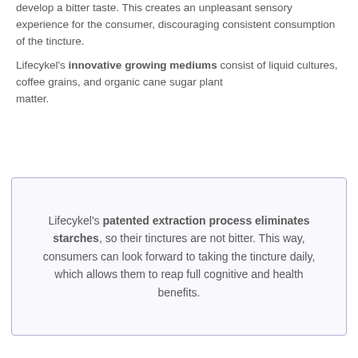develop a bitter taste. This creates an unpleasant sensory experience for the consumer, discouraging consistent consumption of the tincture.
Lifecykel's innovative growing mediums consist of liquid cultures, coffee grains, and organic cane sugar plant matter.
Lifecykel's patented extraction process eliminates starches, so their tinctures are not bitter. This way, consumers can look forward to taking the tincture daily, which allows them to reap full cognitive and health benefits.